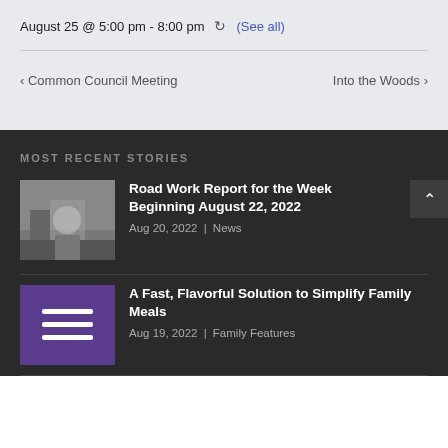August 25 @ 5:00 pm - 8:00 pm  ↻ (See all)
‹ Common Council Meeting
Into the Woods ›
MOST RECENT STORIES
Road Work Report for the Week Beginning August 22, 2022
Aug 20, 2022 | News
A Fast, Flavorful Solution to Simplify Family Meals
Aug 19, 2022 | Family Features